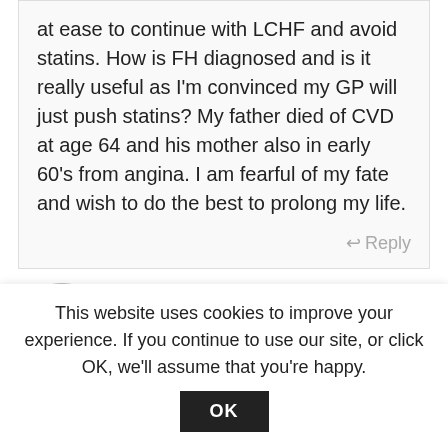at ease to continue with LCHF and avoid statins. How is FH diagnosed and is it really useful as I'm convinced my GP will just push statins? My father died of CVD at age 64 and his mother also in early 60's from angina. I am fearful of my fate and wish to do the best to prolong my life.
Reply
[Figure (photo): Circular avatar photo of a smiling blonde woman wearing a pink top]
Zoë
October 29, 2020 at 9:30 am
This website uses cookies to improve your experience. If you continue to use our site, or click OK, we'll assume that you're happy.